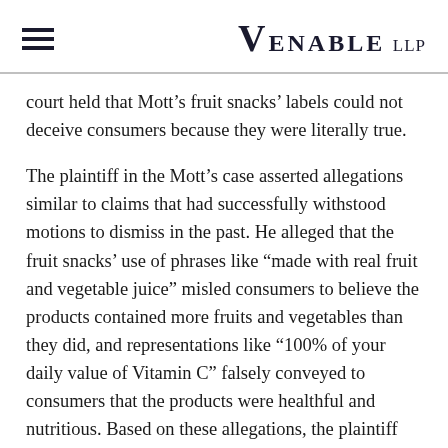VENABLE LLP
court held that Mott’s fruit snacks’ labels could not deceive consumers because they were literally true.
The plaintiff in the Mott’s case asserted allegations similar to claims that had successfully withstood motions to dismiss in the past. He alleged that the fruit snacks’ use of phrases like “made with real fruit and vegetable juice” misled consumers to believe the products contained more fruits and vegetables than they did, and representations like “100% of your daily value of Vitamin C” falsely conveyed to consumers that the products were healthful and nutritious. Based on these allegations, the plaintiff brought consumer protection claims and related common law claims on behalf of himself and all California